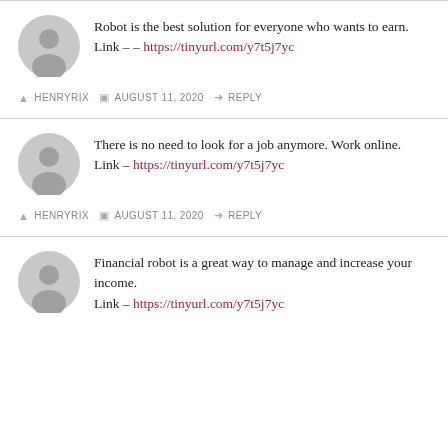Robot is the best solution for everyone who wants to earn.
Link – – https://tinyurl.com/y7t5j7yc
HENRYRIX  AUGUST 11, 2020  REPLY
There is no need to look for a job anymore. Work online.
Link – https://tinyurl.com/y7t5j7yc
HENRYRIX  AUGUST 11, 2020  REPLY
Financial robot is a great way to manage and increase your income.
Link – https://tinyurl.com/y7t5j7yc